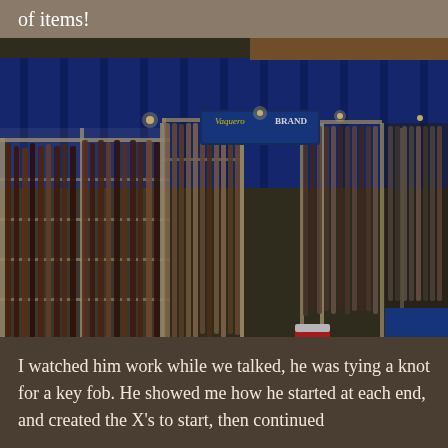of items!
[Figure (photo): Indoor trade show or vendor booth display with wire rack grids holding numerous leather goods, straps, and items hanging from them. Blue curtains line the background. A 'Vaquero Brand' sign is visible. Multiple racks filled with hanging leather items cover the floor space of a large convention-style hall. A blue display table is visible on the right side.]
I watched him work while we talked, he was tying a knot for a key fob. He showed me how he started at each end, and created the X's to start, then continued